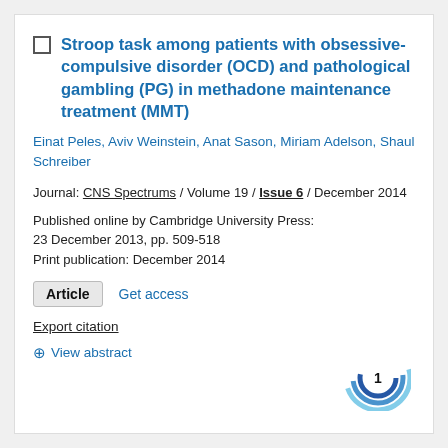Stroop task among patients with obsessive-compulsive disorder (OCD) and pathological gambling (PG) in methadone maintenance treatment (MMT)
Einat Peles, Aviv Weinstein, Anat Sason, Miriam Adelson, Shaul Schreiber
Journal: CNS Spectrums / Volume 19 / Issue 6 / December 2014
Published online by Cambridge University Press: 23 December 2013, pp. 509-518
Print publication: December 2014
Article   Get access
Export citation
+ View abstract
[Figure (other): Citation badge showing the number 1 with a blue circular swoosh logo]